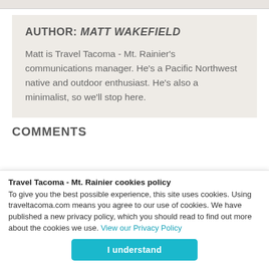AUTHOR: MATT WAKEFIELD
Matt is Travel Tacoma - Mt. Rainier's communications manager. He's a Pacific Northwest native and outdoor enthusiast. He's also a minimalist, so we'll stop here.
COMMENTS
Travel Tacoma - Mt. Rainier cookies policy
To give you the best possible experience, this site uses cookies. Using traveltacoma.com means you agree to our use of cookies. We have published a new privacy policy, which you should read to find out more about the cookies we use. View our Privacy Policy
I understand